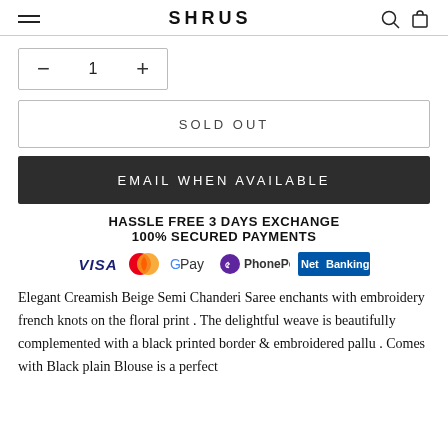SHRUS
1
SOLD OUT
EMAIL WHEN AVAILABLE
HASSLE FREE 3 DAYS EXCHANGE
100% SECURED PAYMENTS
[Figure (infographic): Payment method logos: VISA, MasterCard, G Pay, PhonePe, Net Banking]
Elegant Creamish Beige  Semi Chanderi Saree enchants with embroidery french knots on the floral print . The delightful weave is beautifully complemented with a black  printed border & embroidered pallu . Comes with Black plain Blouse is a perfect